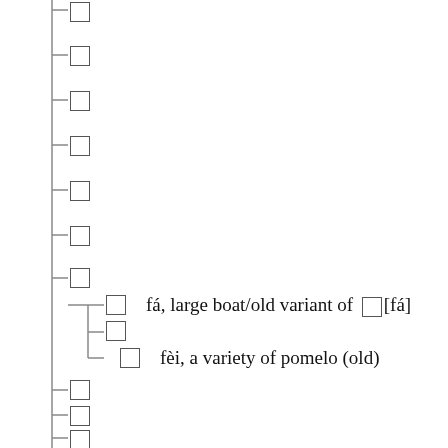□
□
□
□
□
□
□
□    fá, large boat/old variant of □[fá]
□
□
□    fèi, a variety of pomelo (old)
□
□
□
□
□
□